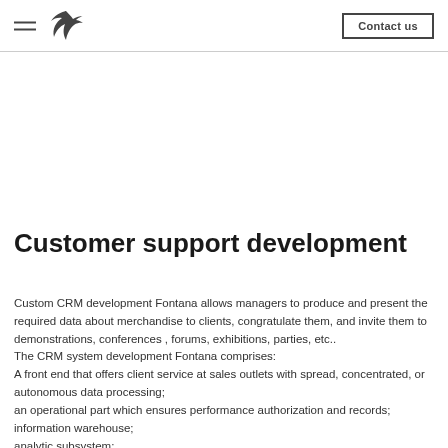Contact us
Customer support development
Custom CRM development Fontana allows managers to produce and present the required data about merchandise to clients, congratulate them, and invite them to demonstrations, conferences , forums, exhibitions, parties, etc..
The CRM system development Fontana comprises:
A front end that offers client service at sales outlets with spread, concentrated, or autonomous data processing;
an operational part which ensures performance authorization and records;
information warehouse;
analytic subsystem;